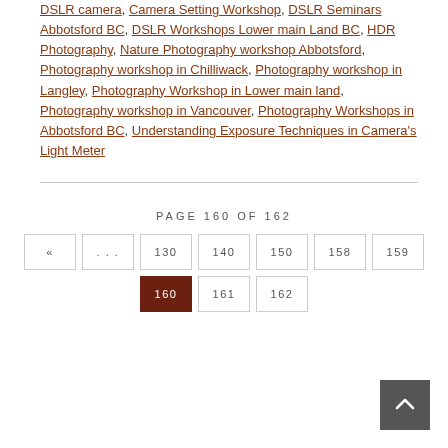DSLR camera, Camera Setting Workshop, DSLR Seminars Abbotsford BC, DSLR Workshops Lower main Land BC, HDR Photography, Nature Photography workshop Abbotsford, Photography workshop in Chilliwack, Photography workshop in Langley, Photography Workshop in Lower main land, Photography workshop in Vancouver, Photography Workshops in Abbotsford BC, Understanding Exposure Techniques in Camera's Light Meter
PAGE 160 OF 162
« … 130 140 150 158 159 160 161 162